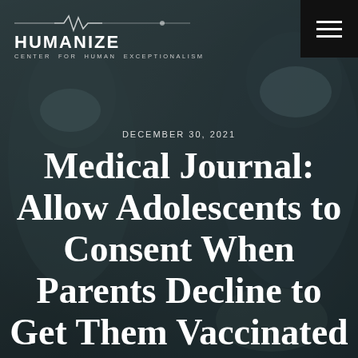[Figure (photo): Blurred background photo of medical professionals wearing surgical masks and scrubs, one appearing to handle a syringe or medical instrument]
HUMANIZE · CENTER FOR HUMAN EXCEPTIONALISM
DECEMBER 30, 2021
Medical Journal: Allow Adolescents to Consent When Parents Decline to Get Them Vaccinated